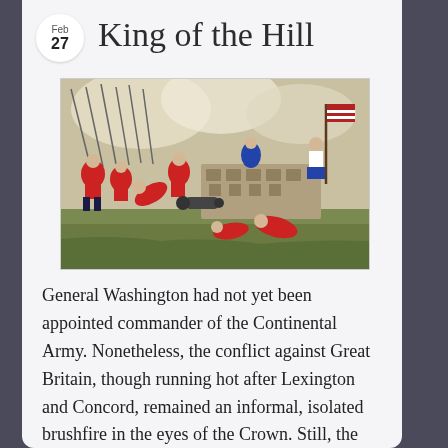Feb 27
King of the Hill
[Figure (illustration): A colorful historical illustration depicting a Revolutionary War battle scene. British soldiers in red coats storm a fortification. American patriots defend with flags flying. Soldiers are shown falling, fighting hand-to-hand, with muskets and bayonets. Smoke fills the background sky.]
General Washington had not yet been appointed commander of the Continental Army. Nonetheless, the conflict against Great Britain, though running hot after Lexington and Concord, remained an informal, isolated brushfire in the eyes of the Crown. Still, the very presence of